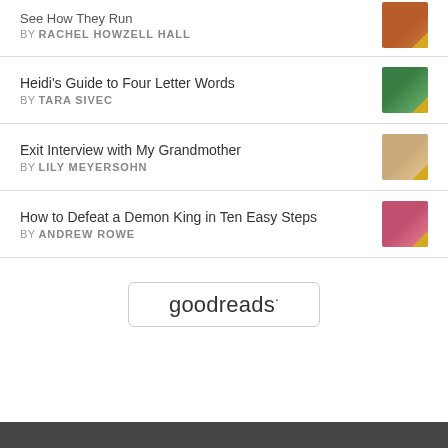See How They Run BY RACHEL HOWZELL HALL
Heidi's Guide to Four Letter Words BY TARA SIVEC
Exit Interview with My Grandmother BY LILY MEYERSOHN
How to Defeat a Demon King in Ten Easy Steps BY ANDREW ROWE
[Figure (logo): Goodreads logo in a rounded rectangle button]